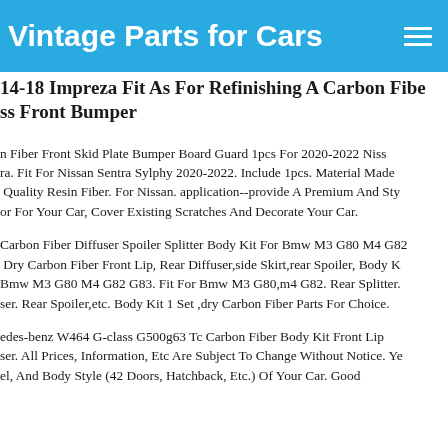Vintage Parts for Cars
14-18 Impreza Fit As For Refinishing A Carbon Fiber ss Front Bumper
n Fiber Front Skid Plate Bumper Board Guard 1pcs For 2020-2022 Nissan Sentra. Fit For Nissan Sentra Sylphy 2020-2022. Include 1pcs. Material Made of High Quality Resin Fiber. For Nissan. application--provide A Premium And Stylish Look or For Your Car, Cover Existing Scratches And Decorate Your Car.
Carbon Fiber Diffuser Spoiler Splitter Body Kit For Bmw M3 G80 M4 G82 G83. Dry Carbon Fiber Front Lip, Rear Diffuser,side Skirt,rear Spoiler, Body Kit For Bmw M3 G80 M4 G82 G83. Fit For Bmw M3 G80,m4 G82. Rear Splitter. Rear Diffuser. Rear Spoiler,etc. Body Kit 1 Set ,dry Carbon Fiber Parts For Choice.
edes-benz W464 G-class G500g63 Tc Carbon Fiber Body Kit Front Lip Diffuser. All Prices, Information, Etc Are Subject To Change Without Notice. Year, Model, And Body Style (42 Doors, Hatchback, Etc.) Of Your Car. Good